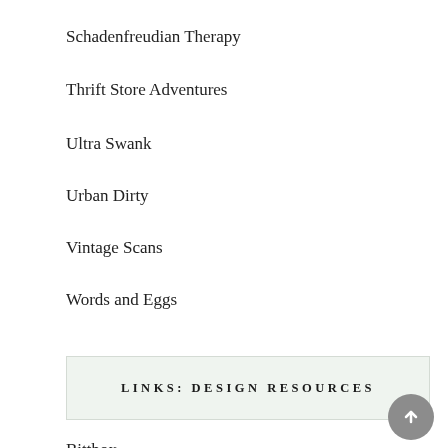Schadenfreudian Therapy
Thrift Store Adventures
Ultra Swank
Urban Dirty
Vintage Scans
Words and Eggs
LINKS: DESIGN RESOURCES
Bittbox
Blue Vertigo